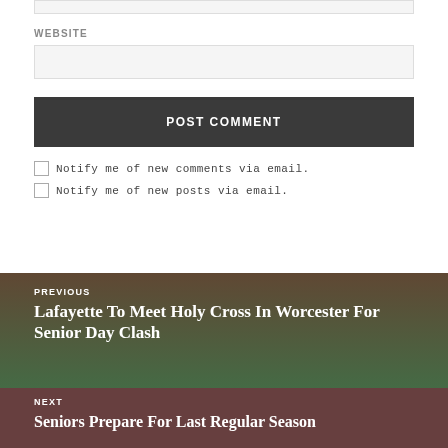WEBSITE
POST COMMENT
Notify me of new comments via email.
Notify me of new posts via email.
PREVIOUS
Lafayette To Meet Holy Cross In Worcester For Senior Day Clash
NEXT
Seniors Prepare For Last Regular Season